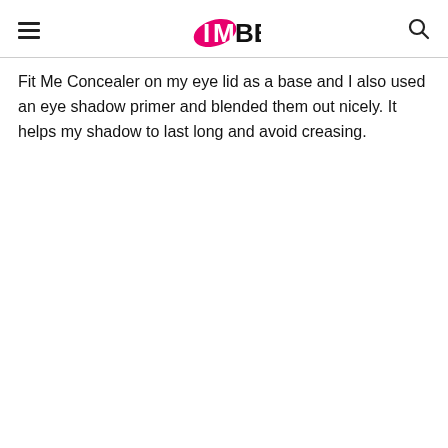IMBB
Fit Me Concealer on my eye lid as a base and I also used an eye shadow primer and blended them out nicely. It helps my shadow to last long and avoid creasing.